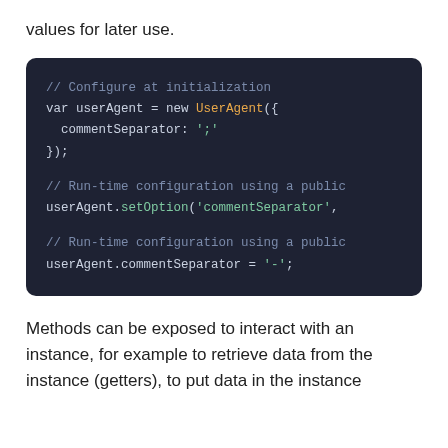values for later use.
[Figure (screenshot): Dark-themed code block showing three JavaScript snippets: initialization with UserAgent constructor, runtime configuration using setOption method, and runtime configuration using direct property assignment.]
Methods can be exposed to interact with an instance, for example to retrieve data from the instance (getters), to put data in the instance